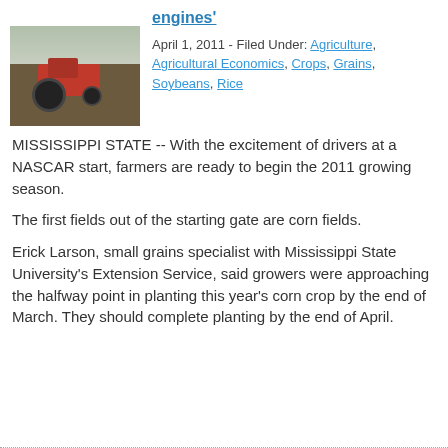[Figure (photo): A tractor plowing a dark field, photographed from behind, with a gray sky in the background.]
engines'
April 1, 2011 - Filed Under: Agriculture, Agricultural Economics, Crops, Grains, Soybeans, Rice
MISSISSIPPI STATE -- With the excitement of drivers at a NASCAR start, farmers are ready to begin the 2011 growing season.
The first fields out of the starting gate are corn fields.
Erick Larson, small grains specialist with Mississippi State University's Extension Service, said growers were approaching the halfway point in planting this year's corn crop by the end of March. They should complete planting by the end of April.